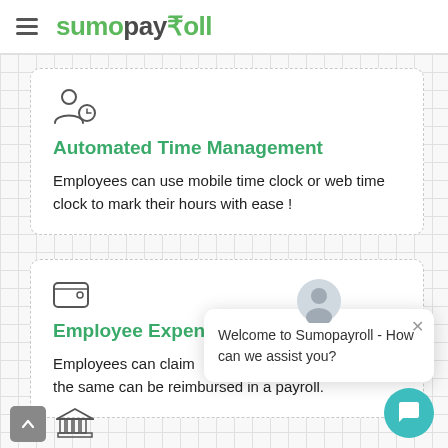sumopay₹oll
[Figure (screenshot): Automated Time Management card with user+clock icon, green heading, and description text on a grid background]
Automated Time Management
Employees can use mobile time clock or web time clock to mark their hours with ease !
[Figure (screenshot): Employee Expense card with wallet icon, green heading, and partial description text]
Employee Expense Management
Employees can claim expenses and the same can be reimbursed in a payroll.
Welcome to Sumopayroll - How can we assist you?